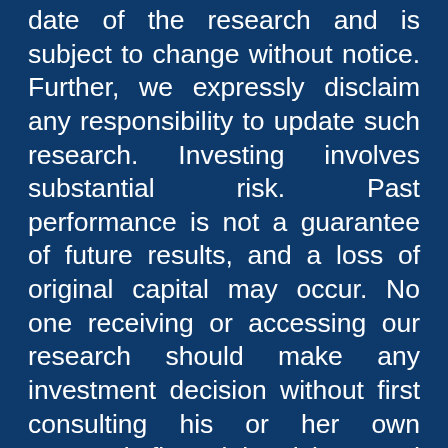date of the research and is subject to change without notice. Further, we expressly disclaim any responsibility to update such research. Investing involves substantial risk. Past performance is not a guarantee of future results, and a loss of original capital may occur. No one receiving or accessing our research should make any investment decision without first consulting his or her own personal financial advisor and conducting his or her own research and due diligence, including carefully reviewing any applicable prospectuses, press releases, reports and other public filings of the issuer of any securities being considered. None of the information presented should be construed as an offer to sell or buy any particular security. As